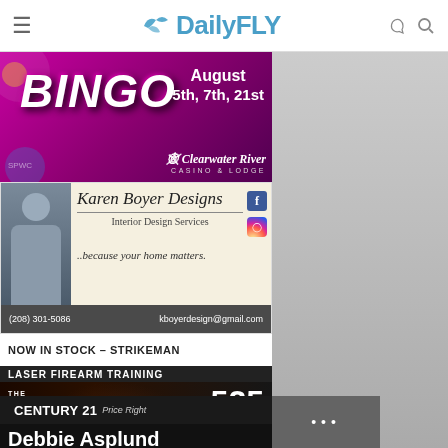DailyFLY
[Figure (photo): Bingo ad for Clearwater River Casino & Lodge. August 5th, 7th, 21st. Pink/purple background with bingo balls.]
[Figure (photo): Karen Boyer Designs - Interior Design Services. '..because your home matters.' Phone: (208) 301-5086, Email: kboyerdesign@gmail.com]
[Figure (photo): The Firing Edge - Now in Stock Strikeman Laser Firearm Training. 525 Thain Rd. Lewiston]
[Figure (photo): Century 21 Price Right - Debbie Asplund. Search Here. 208-791-3339]